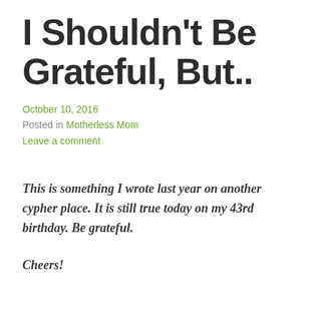I Shouldn't Be Grateful, But..
October 10, 2016
Posted in Motherless Mom
Leave a comment
This is something I wrote last year on another cypher place. It is still true today on my 43rd birthday. Be grateful.
Cheers!